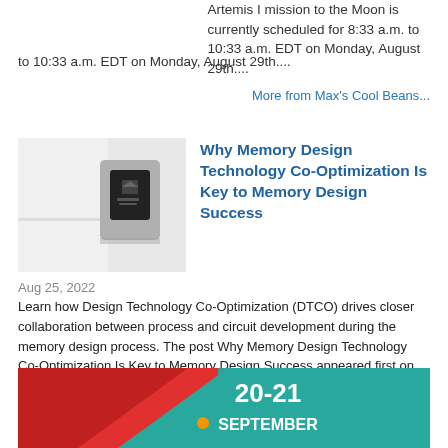Artemis I mission to the Moon is currently scheduled for 8:33 a.m. to 10:33 a.m. EDT on Monday, August 29th....
More from Max's Cool Beans...
[Figure (photo): Smart home thermostat device mounted on a wall]
Why Memory Design Technology Co-Optimization Is Key to Memory Design Success
Aug 25, 2022
Learn how Design Technology Co-Optimization (DTCO) drives closer collaboration between process and circuit development during the memory design process. The post Why Memory Design Technology Co-Optimization Is Key to Memory Design Success appeared first on From Silicon To So...
More from Synopsys...
[Figure (infographic): Banner advertisement with red and teal geometric design showing 20-21 SEPTEMBER]